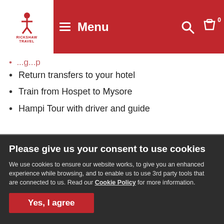Menu
Return transfers to your hotel
Train from Hospet to Mysore
Hampi Tour with driver and guide
Please give us your consent to use cookies
We use cookies to ensure our website works, to give you an enhanced experience while browsing, and to enable us to use 3rd party tools that are connected to us. Read our Cookie Policy for more information.
Yes, I agree